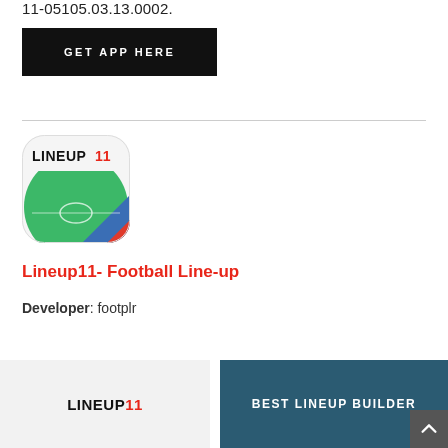11-05105.03.13.0002.
GET APP HERE
[Figure (logo): Lineup11 app icon showing a football pitch with green field and blue/red/white diagonal stripe, rounded square shape]
Lineup11- Football Line-up
Developer: footplr
[Figure (screenshot): App screenshot showing LINEUP11 logo on light gray background]
[Figure (screenshot): App screenshot showing BEST LINEUP BUILDER text on dark teal background]